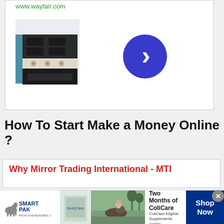www.wayfair.com
[Figure (screenshot): Wayfair ad card showing a stove/range product image on the left and a blue circular arrow/play button on the right]
How To Start Make a Money Online ?
Why Mirror Trading International - MTI
[Figure (infographic): SmartPak advertisement banner: SmartPak logo, product image, horse and rider photo, text '50% Off Two Months of ColiCare, ColiCare Eligible Supplements, CODE: COLICARE10', and a blue 'Shop Now' button]